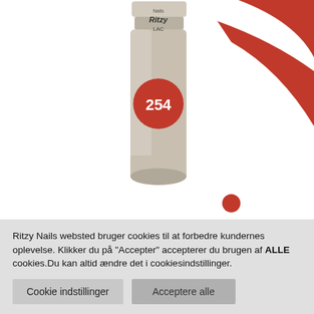[Figure (photo): Product photo of Ritzy Nails LAC gel polish bottle number 254, with a red dot/circle label. Background shows red decorative swoosh elements. Bottle is metallic champagne/gold color.]
Spice Girl 254
Ritzy Lac er en UV/LED Gel Polish.
Ritzy Nails websted bruger cookies til at forbedre kundernes oplevelse. Klikker du på "Accepter" accepterer du brugen af ALLE cookies.Du kan altid ændre det i cookiesindstillinger.